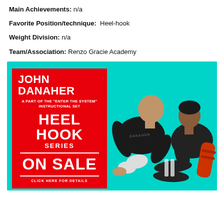Main Achievements: n/a
Favorite Position/technique: Heel-hook
Weight Division: n/a
Team/Association: Renzo Gracie Academy
[Figure (photo): Advertisement for John Danaher's 'Enter the System' Heel Hook Series instructional set, on sale. Features two grapplers on a teal background with a red promotional box.]